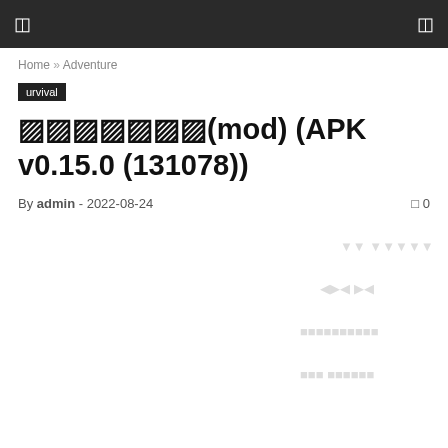☰  ☰
Home » Adventure
urvival
▨▨▨▨▨▨▨(mod) (APK v0.15.0 (131078))
By admin - 2022-08-24   0